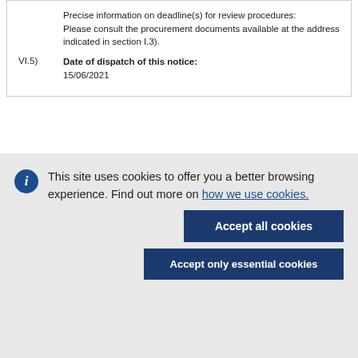Precise information on deadline(s) for review procedures:
Please consult the procurement documents available at the address indicated in section I.3).
VI.5) Date of dispatch of this notice: 15/06/2021
This site uses cookies to offer you a better browsing experience. Find out more on how we use cookies.